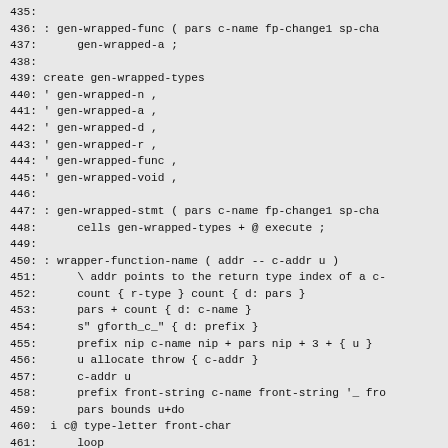435:
436: : gen-wrapped-func ( pars c-name fp-change1 sp-cha
437:      gen-wrapped-a ;
438:
439: create gen-wrapped-types
440: ' gen-wrapped-n ,
441: ' gen-wrapped-a ,
442: ' gen-wrapped-d ,
443: ' gen-wrapped-r ,
444: ' gen-wrapped-func ,
445: ' gen-wrapped-void ,
446:
447: : gen-wrapped-stmt ( pars c-name fp-change1 sp-cha
448:      cells gen-wrapped-types + @ execute ;
449:
450: : wrapper-function-name ( addr -- c-addr u )
451:      \ addr points to the return type index of a c-
452:      count { r-type } count { d: pars }
453:      pars + count { d: c-name }
454:      s" gforth_c_" { d: prefix }
455:      prefix nip c-name nip + pars nip + 3 + { u }
456:      u allocate throw { c-addr }
457:      c-addr u
458:      prefix front-string c-name front-string '_ fro
459:      pars bounds u+do
460:  i c@ type-letter front-char
461:      loop
462:      '_ front-char r-type type-letter front-char as
463:      2drop c-addr u ;
464: